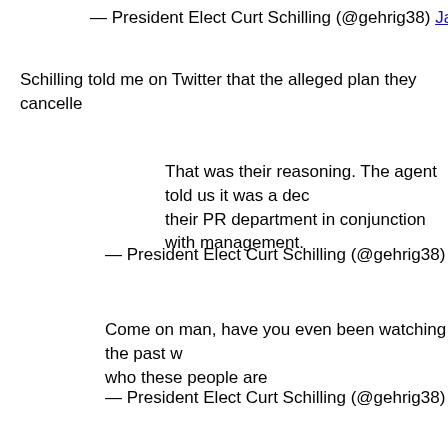— President Elect Curt Schilling (@gehrig38) January 1
Schilling told me on Twitter that the alleged plan they cancelle
That was their reasoning. The agent told us it was a dec their PR department in conjunction with management.
— President Elect Curt Schilling (@gehrig38) January 1
Come on man, have you even been watching the past w who these people are
— President Elect Curt Schilling (@gehrig38) January 1